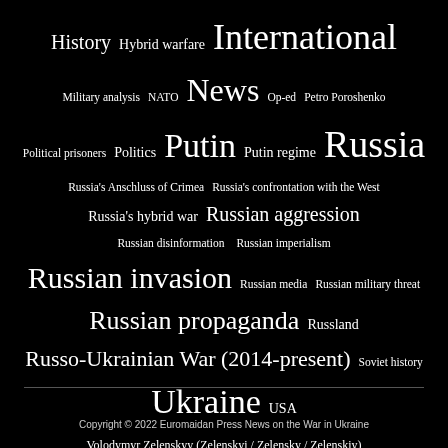[Figure (infographic): Tag cloud on black background showing topics related to Russia-Ukraine war and Euromaidan Press. Tags vary in size indicating frequency/importance. Largest tags: International, News, Russia, Putin, Russian invasion, Russian propaganda, Russo-Ukrainian War (2014-present), Ukraine. Medium tags: History, Hybrid warfare, Military analysis, NATO, Op-ed, Petro Poroshenko, Political prisoners, Politics, Putin regime, Russia's Anschluss of Crimea, Russia's confrontation with the West, Russia's hybrid war, Russian aggression, Russian disinformation, Russian imperialism, Russian media, Russian military threat, Russland, Soviet history, USA. Smaller tags: Volodymyr Zelenskyy (Zelenskyi / Zelensky / Zelenskiy)]
Copyright © 2022 Euromaidan Press News on the War in Ukraine